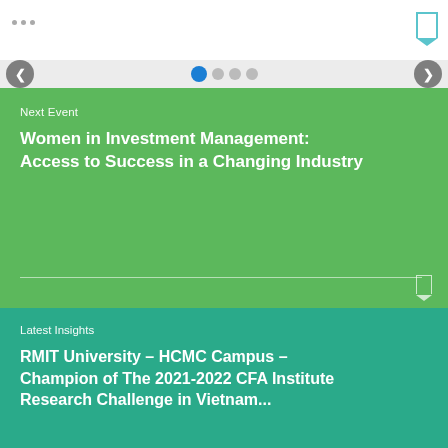Next Event
Women in Investment Management: Access to Success in a Changing Industry
Latest Insights
RMIT University – HCMC Campus – Champion of The 2021-2022 CFA Institute Research Challenge in Vietnam...